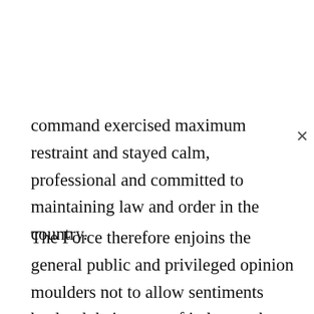command exercised maximum restraint and stayed calm, professional and committed to maintaining law and order in the country.
The Force therefore enjoins the general public and privileged opinion moulders not to allow sentiments becloud their sense of judgment but to use opportunities of national platforms to offer constructive criticisms and advocate opinions that will help in improving governance generally and policing in particular in the country. Major General Garba Wahab (rtd) will do well to fact-check his